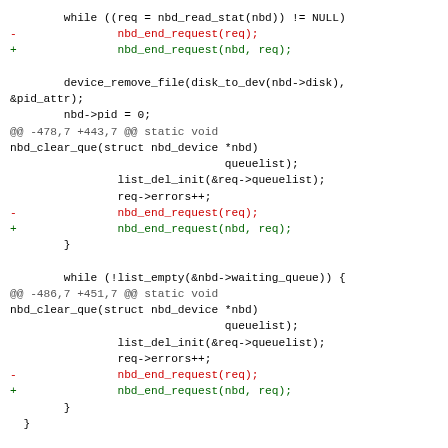Diff/patch code block showing changes to nbd_end_request calls and related kernel driver code.